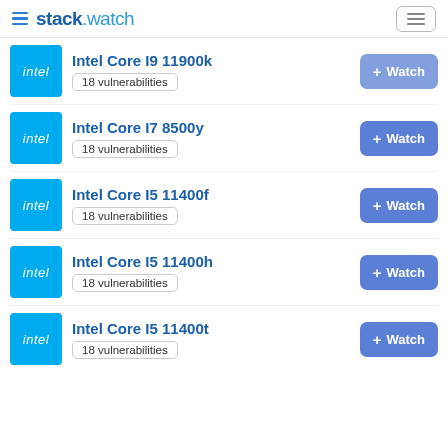stack.watch
Intel Core I9 11900k — 18 vulnerabilities
Intel Core I7 8500y — 18 vulnerabilities
Intel Core I5 11400f — 18 vulnerabilities
Intel Core I5 11400h — 18 vulnerabilities
Intel Core I5 11400t — 18 vulnerabilities